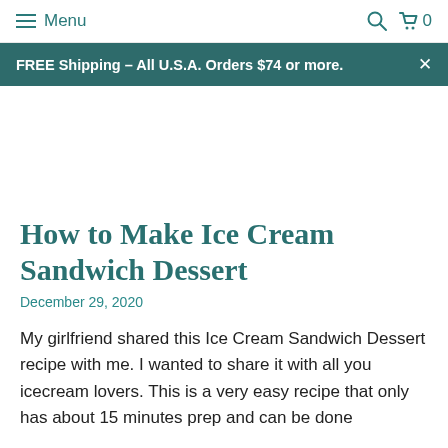Menu  🔍 🛒 0
FREE Shipping – All U.S.A. Orders $74 or more. ×
How to Make Ice Cream Sandwich Dessert
December 29, 2020
My girlfriend shared this Ice Cream Sandwich Dessert recipe with me. I wanted to share it with all you icecream lovers. This is a very easy recipe that only has about 15 minutes prep and can be done ahead of time.